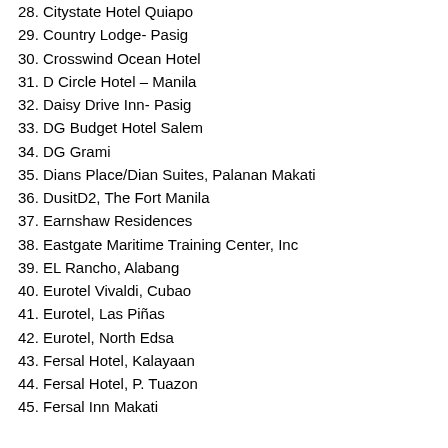28. Citystate Hotel Quiapo
29. Country Lodge- Pasig
30. Crosswind Ocean Hotel
31. D Circle Hotel – Manila
32. Daisy Drive Inn- Pasig
33. DG Budget Hotel Salem
34. DG Grami
35. Dians Place/Dian Suites, Palanan Makati
36. DusitD2, The Fort Manila
37. Earnshaw Residences
38. Eastgate Maritime Training Center, Inc
39. EL Rancho, Alabang
40. Eurotel Vivaldi, Cubao
41. Eurotel, Las Piñas
42. Eurotel, North Edsa
43. Fersal Hotel, Kalayaan
44. Fersal Hotel, P. Tuazon
45. Fersal Inn Makati